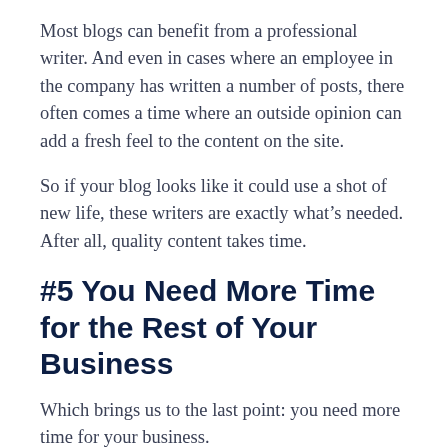Most blogs can benefit from a professional writer. And even in cases where an employee in the company has written a number of posts, there often comes a time where an outside opinion can add a fresh feel to the content on the site.
So if your blog looks like it could use a shot of new life, these writers are exactly what’s needed. After all, quality content takes time.
#5 You Need More Time for the Rest of Your Business
Which brings us to the last point: you need more time for your business.
You can write the posts yourself. You can delegate it to another person down the ladder. But at some